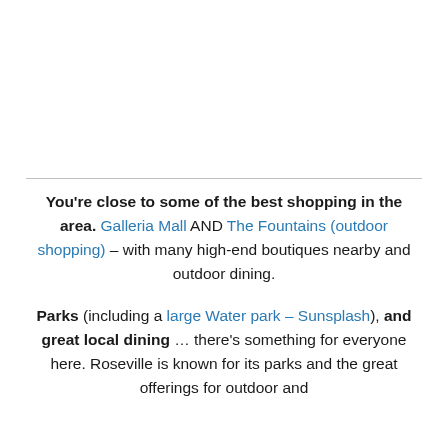You're close to some of the best shopping in the area. Galleria Mall AND The Fountains (outdoor shopping) – with many high-end boutiques nearby and outdoor dining.

Parks (including a large Water park – Sunsplash), and great local dining ... there's something for everyone here. Roseville is known for its parks and the great offerings for outdoor and